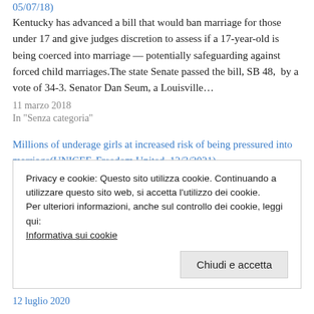05/07/18)
Kentucky has advanced a bill that would ban marriage for those under 17 and give judges discretion to assess if a 17-year-old is being coerced into marriage — potentially safeguarding against forced child marriages.The state Senate passed the bill, SB 48,  by a vote of 34-3. Senator Dan Seum, a Louisville…
11 marzo 2018
In "Senza categoria"
Millions of underage girls at increased risk of being pressured into marriage(UNICEF, Freedom United, 12/3/2021)
A report  by UNICEF  has found 10 million more girls are at risk of child marriage over the next decade as a result of the COVID-19 pandemic.As the BBC reports, while the proportion of girls married before legal adulthood has fallen by 15% since 2011, the impact of
Privacy e cookie: Questo sito utilizza cookie. Continuando a utilizzare questo sito web, si accetta l'utilizzo dei cookie.
Per ulteriori informazioni, anche sul controllo dei cookie, leggi qui:
Informativa sui cookie
Chiudi e accetta
12 luglio 2020